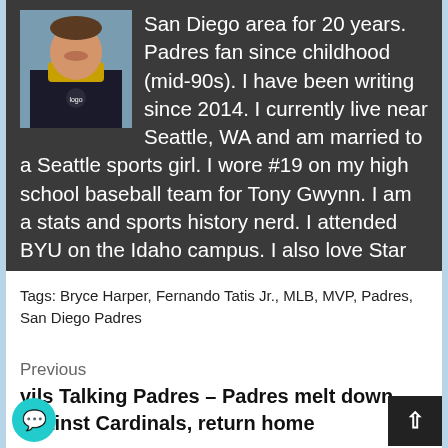[Figure (photo): Author photo: young man smiling, wearing dark jacket with yellow hoodie, outdoor background]
San Diego area for 20 years. Padres fan since childhood (mid-90s). I have been writing since 2014. I currently live near Seattle, WA and am married to a Seattle sports girl. I wore #19 on my high school baseball team for Tony Gwynn. I am a stats and sports history nerd. I attended BYU on the Idaho campus. I also love Star Wars.
Tags: Bryce Harper, Fernando Tatis Jr., MLB, MVP, Padres, San Diego Padres
Previous
vils Talking Padres – Padres melt down against Cardinals, return home